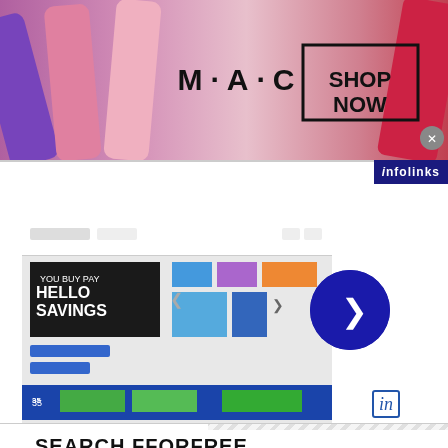[Figure (screenshot): MAC Cosmetics advertisement banner with lipsticks, MAC logo, and SHOP NOW button]
infolinks
kohls.com
kohls.com
[Figure (screenshot): Screenshot of kohls.com website showing Hello Savings promotion with blue and green bars]
SEARCH FFORFREE
infolinks
Women's Fashion | Shop Online | VENUS
Shop the best in women's fashion, clothing, swimwear
venus.com